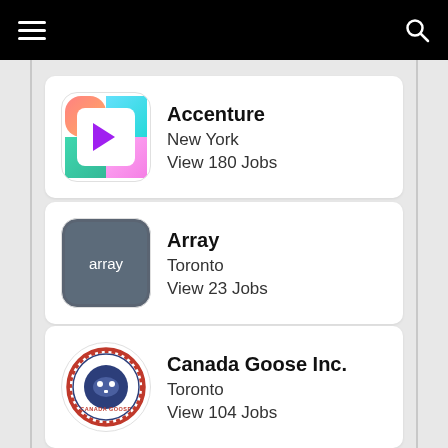Accenture
New York
View 180 Jobs
Array
Toronto
View 23 Jobs
Canada Goose Inc.
Toronto
View 104 Jobs